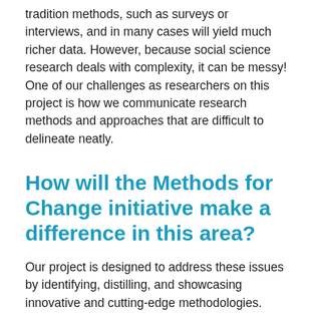tradition methods, such as surveys or interviews, and in many cases will yield much richer data. However, because social science research deals with complexity, it can be messy! One of our challenges as researchers on this project is how we communicate research methods and approaches that are difficult to delineate neatly.
How will the Methods for Change initiative make a difference in this area?
Our project is designed to address these issues by identifying, distilling, and showcasing innovative and cutting-edge methodologies. Working with over 30 social scientists from across the Aspect network